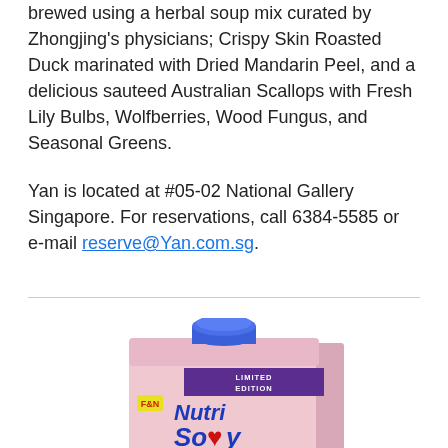brewed using a herbal soup mix curated by Zhongjing's physicians; Crispy Skin Roasted Duck marinated with Dried Mandarin Peel, and a delicious sauteed Australian Scallops with Fresh Lily Bulbs, Wolfberries, Wood Fungus, and Seasonal Greens.
Yan is located at #05-02 National Gallery Singapore. For reservations, call 6384-5585 or e-mail reserve@Yan.com.sg.
[Figure (photo): A pink carton of F&N Nutri Soy Fresh Soya Milk, Limited Edition, with a blue cap. The carton features the Nutri Soy logo in large blue letters with a red heart replacing the letter 'o' in Soy, and text reading LIMITED EDITION on a purple band near the top.]